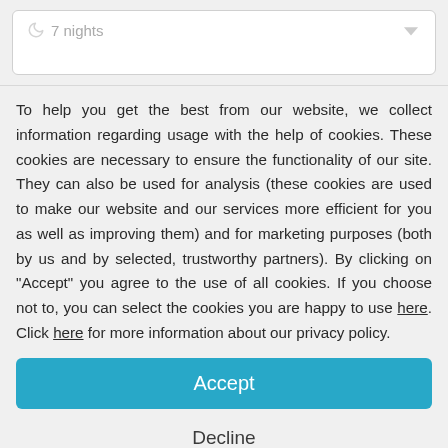[Figure (screenshot): Top card widget showing a moon icon and '7 nights' text with a chevron/dropdown arrow on the right, on a white rounded card background.]
To help you get the best from our website, we collect information regarding usage with the help of cookies. These cookies are necessary to ensure the functionality of our site. They can also be used for analysis (these cookies are used to make our website and our services more efficient for you as well as improving them) and for marketing purposes (both by us and by selected, trustworthy partners). By clicking on "Accept" you agree to the use of all cookies. If you choose not to, you can select the cookies you are happy to use here. Click here for more information about our privacy policy.
Accept
Decline
Configure